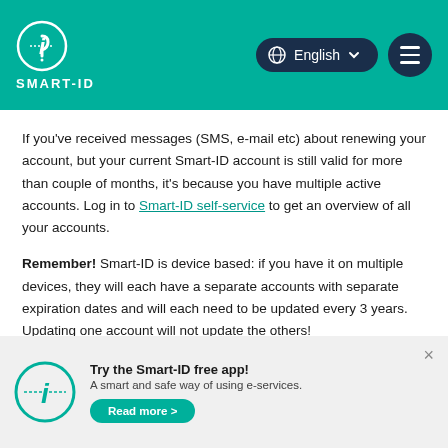[Figure (logo): Smart-ID logo with globe/language selector and hamburger menu in teal header]
If you've received messages (SMS, e-mail etc) about renewing your account, but your current Smart-ID account is still valid for more than couple of months, it's because you have multiple active accounts. Log in to Smart-ID self-service to get an overview of all your accounts.
Remember! Smart-ID is device based: if you have it on multiple devices, they will each have a separate accounts with separate expiration dates and will each need to be updated every 3 years. Updating one account will not update the others!
Try the Smart-ID free app! A smart and safe way of using e-services. Read more >